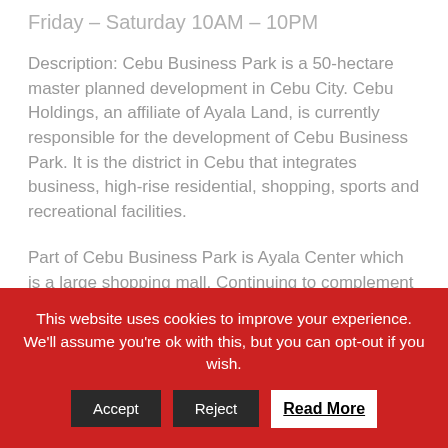Friday – Saturday 10AM – 10PM
Description: Cebu Business Park is a 50-hectare master planned development in Cebu City. Cebu Holdings, an affiliate of Ayala Land, is currently responsible for the development of Cebu Business Park. It is the district in Cebu that integrates business, high-rise residential, shopping, sports and recreational facilities.
Part of Cebu Business Park is Ayala Center which is a large shopping mall. Continuing to complement Cebu's vibrant community, Ayala Center Cebu's
This website uses cookies to improve your experience. We'll assume you're ok with this, but you can opt-out if you wish.
Accept | Reject | Read More